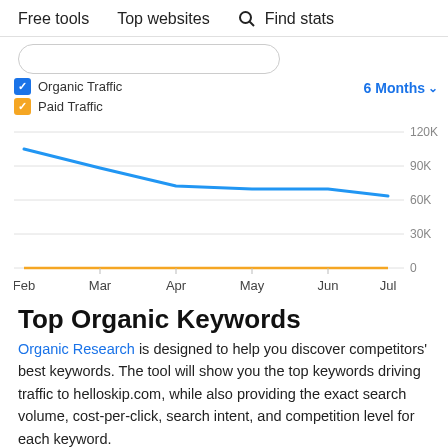Free tools   Top websites   Find stats
[Figure (line-chart): Organic Traffic vs Paid Traffic (6 Months)]
Top Organic Keywords
Organic Research is designed to help you discover competitors' best keywords. The tool will show you the top keywords driving traffic to helloskip.com, while also providing the exact search volume, cost-per-click, search intent, and competition level for each keyword.